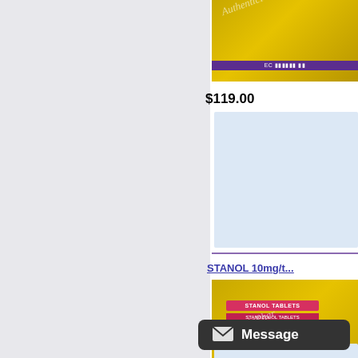[Figure (photo): Gold foil pharmaceutical product packet with EC pharma label (purple band) and AuthenticPhar watermark]
$119.00
[Figure (other): Light blue placeholder box]
STANOL 10mg/t...
[Figure (photo): Gold foil STANOL TABLETS pharmaceutical product packet with red/pink label reading STANOL TABLETS, EC pharma purple label, AuthenticPhar watermark]
$127.50
[Figure (other): Light blue placeholder box (partially visible)]
Message